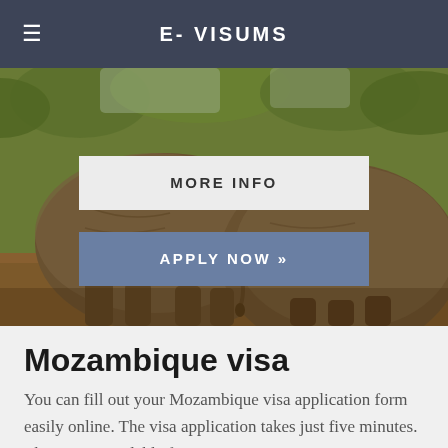E- VISUMS
[Figure (photo): Photograph of elephants from behind in a savanna/wildlife setting, warm brown tones with green trees in the background. Two large elephant backs fill the frame.]
MORE INFO
APPLY NOW »
Mozambique visa
You can fill out your Mozambique visa application form easily online. The visa application takes just five minutes. The visa is available from